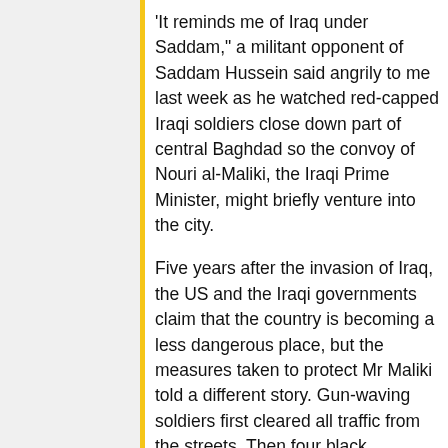'It reminds me of Iraq under Saddam," a militant opponent of Saddam Hussein said angrily to me last week as he watched red-capped Iraqi soldiers close down part of central Baghdad so the convoy of Nouri al-Maliki, the Iraqi Prime Minister, might briefly venture into the city.
Five years after the invasion of Iraq, the US and the Iraqi governments claim that the country is becoming a less dangerous place, but the measures taken to protect Mr Maliki told a different story. Gun-waving soldiers first cleared all traffic from the streets. Then four black armoured cars, each with three machine-gunners on the roof, raced out of the Green Zone through a heavily fortified exit, followed by